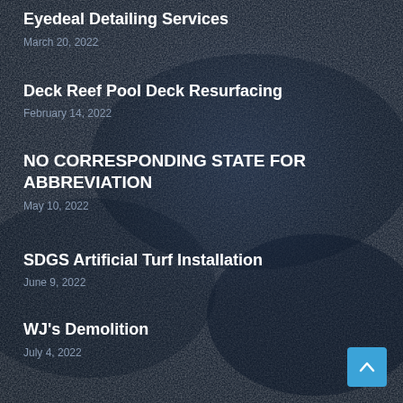Eyedeal Detailing Services
March 20, 2022
Deck Reef Pool Deck Resurfacing
February 14, 2022
NO CORRESPONDING STATE FOR ABBREVIATION
May 10, 2022
SDGS Artificial Turf Installation
June 9, 2022
WJ's Demolition
July 4, 2022